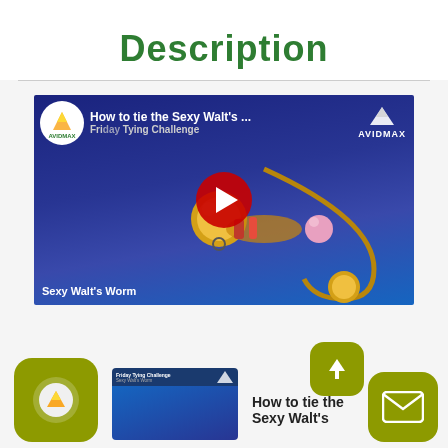Description
[Figure (screenshot): YouTube video thumbnail showing AvidMax 'How to tie the Sexy Walt's ... Friday Tying Challenge' video with a fly fishing lure on blue background and red play button]
How to tie the Sexy Walt's